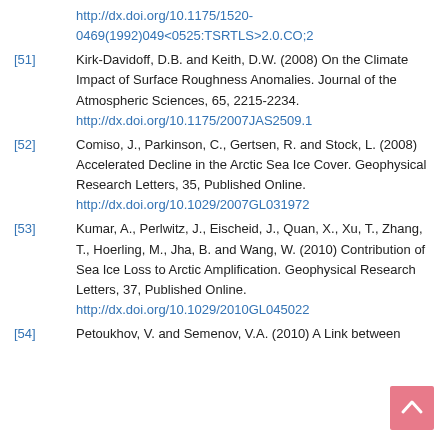http://dx.doi.org/10.1175/1520-0469(1992)049<0525:TSRTLS>2.0.CO;2
[51] Kirk-Davidoff, D.B. and Keith, D.W. (2008) On the Climate Impact of Surface Roughness Anomalies. Journal of the Atmospheric Sciences, 65, 2215-2234. http://dx.doi.org/10.1175/2007JAS2509.1
[52] Comiso, J., Parkinson, C., Gertsen, R. and Stock, L. (2008) Accelerated Decline in the Arctic Sea Ice Cover. Geophysical Research Letters, 35, Published Online. http://dx.doi.org/10.1029/2007GL031972
[53] Kumar, A., Perlwitz, J., Eischeid, J., Quan, X., Xu, T., Zhang, T., Hoerling, M., Jha, B. and Wang, W. (2010) Contribution of Sea Ice Loss to Arctic Amplification. Geophysical Research Letters, 37, Published Online. http://dx.doi.org/10.1029/2010GL045022
[54] Petoukhov, V. and Semenov, V.A. (2010) A Link between